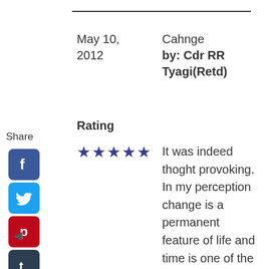May 10, 2012
Cahnge
by: Cdr RR Tyagi(Retd)
Rating
[Figure (infographic): Share label with social media icon buttons: Facebook, Twitter, Pinterest, Tumblr, Reddit, WhatsApp]
★★★★★
It was indeed thoght provoking. In my perception change is a permanent feature of life and time is one of the main factor.With so many other factors like Economy,technology, eductaion etc affecting change is coming faster than percieved. What was taboo 100 years ago is acceptable today and what is taboo today